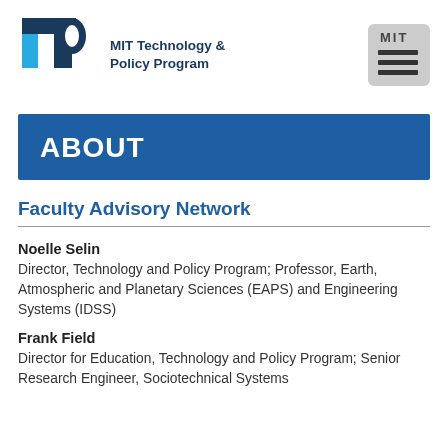MIT Technology & Policy Program
ABOUT
Faculty Advisory Network
Noelle Selin
Director, Technology and Policy Program; Professor, Earth, Atmospheric and Planetary Sciences (EAPS) and Engineering Systems (IDSS)
Frank Field
Director for Education, Technology and Policy Program; Senior Research Engineer, Sociotechnical Systems